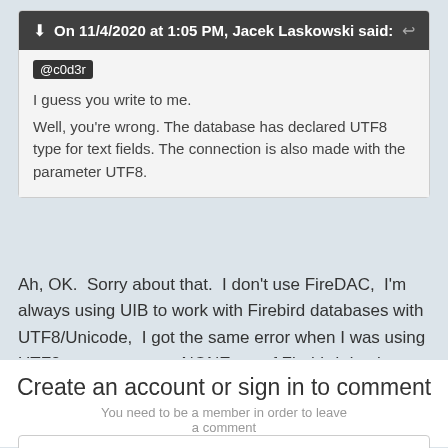On 11/4/2020 at 1:05 PM, Jacek Laskowski said:
@c0d3r
I guess you write to me.
Well, you're wrong. The database has declared UTF8 type for text fields. The connection is also made with the parameter UTF8.
Ah, OK.  Sorry about that.  I don't use FireDAC,  I'm always using UIB to work with Firebird databases with UTF8/Unicode,  I got the same error when I was using UTF8 to connect to a NONE set of Firebird database.
Create an account or sign in to comment
You need to be a member in order to leave a comment
Create an account